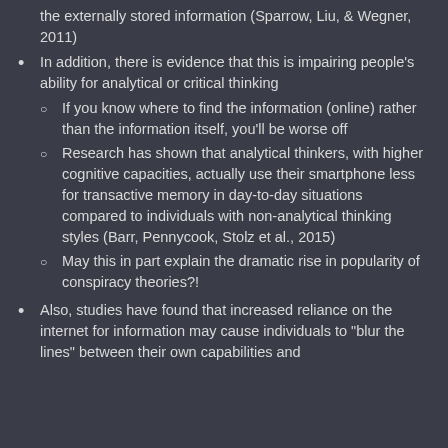the externally stored information (Sparrow, Liu, & Wegner, 2011)
In addition, there is evidence that this is impairing people's ability for analytical or critical thinking
If you know where to find the information (online) rather than the information itself, you'll be worse off
Research has shown that analytical thinkers, with higher cognitive capacities, actually use their smartphone less for transactive memory in day-to-day situations compared to individuals with non-analytical thinking styles (Barr, Pennycook, Stolz et al., 2015)
May this in part explain the dramatic rise in popularity of conspiracy theories?!
Also, studies have found that increased reliance on the internet for information may cause individuals to “blur the lines” between their own capabilities and